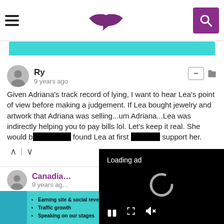Website header with hamburger menu, lips logo, and search button
[Figure (screenshot): Cyan advertisement banner]
Ry
9 years ago
Given Adriana's track record of lying, I want to hear Lea's point of view before making a judgement. If Lea bought jewelry and artwork that Adriana was selling...um Adriana...Lea was indirectly helping you to pay bills lol. Let's keep it real. She would b[e...] found Lea at first [...] support her.
[Figure (screenshot): Video ad overlay showing 'Loading ad' with spinning loader and playback controls]
Canadia[n]
9 years ag[o]
[Figure (screenshot): Bottom advertisement banner for SHE Partner Network with bullet points: Earning site & social revenue, Traffic growth, Speaking on our stages. LEARN MORE button.]